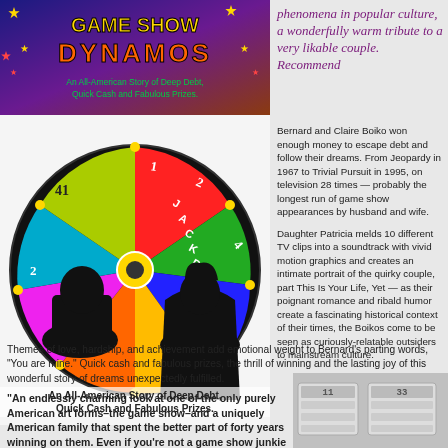[Figure (illustration): Game Show Dynamos book cover with colorful title text on dark background in top-left corner]
phenomena in popular culture, a wonderfully warm tribute to a very likable couple. Recommended
[Figure (photo): Silhouettes of two people in front of a colorful game show wheel with JACKPOT text and numbers]
An All-American Story of Deep Debt, Quick Cash and Fabulous Prizes.
Bernard and Claire Boiko won enough money to escape debt and follow their dreams. From Jeopardy in 1967 to Trivial Pursuit in 1995, on television 28 times — probably the longest run of game show appearances by husband and wife.
Daughter Patricia melds 10 different TV clips into a soundtrack with vivid motion graphics and creates an intimate portrait of the quirky couple, part This Is Your Life, Yet — as their poignant romance and ribald humor create a fascinating historical context of their times, the Boikos come to be seen as curiously-relatable outsiders to mainstream culture.
Themes of love, hardship, and achievement add emotional weight to Bernard's parting words, "You are mine." Quick cash and fabulous prizes, the thrill of winning and the lasting joy of this wonderful story of dreams unexpectedly fulfilled.
"An endlessly charming look at one of the only purely American art forms–the game show–and a uniquely American family that spent the better part of forty years winning on them. Even if you're not a game show junkie like I am, this documentary has lovely gifts
[Figure (photo): Partial image of what appears to be lottery tickets or similar cards in bottom right corner]